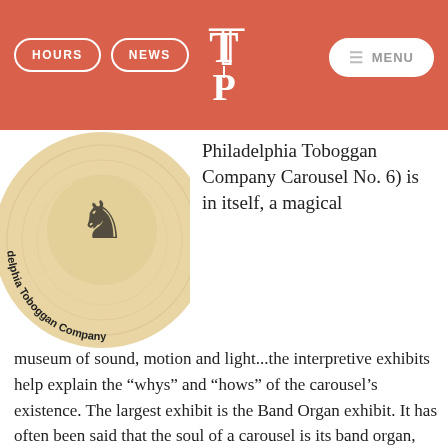HOURS | NEWS | [Logo] | MENU
[Figure (photo): Close-up of a wooden coin/medallion with 'Philadelphia Toboggan Company' text around the edge and a logo in the center]
Philadelphia Toboggan Company Carousel No. 6) is in itself, a magical museum of sound, motion and light...the interpretive exhibits help explain the “whys” and “hows” of the carousel’s existence. The largest exhibit is the Band Organ exhibit. It has often been said that the soul of a carousel is its band organ, for riding a carousel without music is not really riding at all. Technical advisor and interpreter for this exhibit is band organ restoration